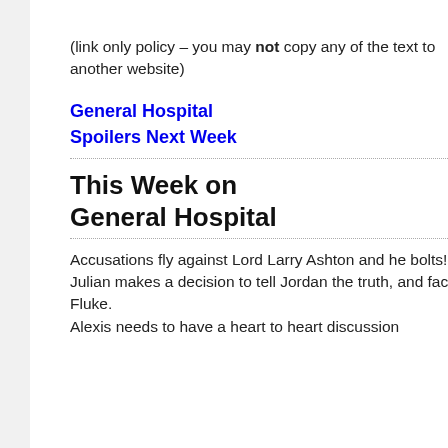(link only policy – you may not copy any of the text to another website)
General Hospital Spoilers Next Week
This Week on General Hospital
Accusations fly against Lord Larry Ashton and he bolts!
Julian makes a decision to tell Jordan the truth, and faces Fluke.
Alexis needs to have a heart to heart discussion